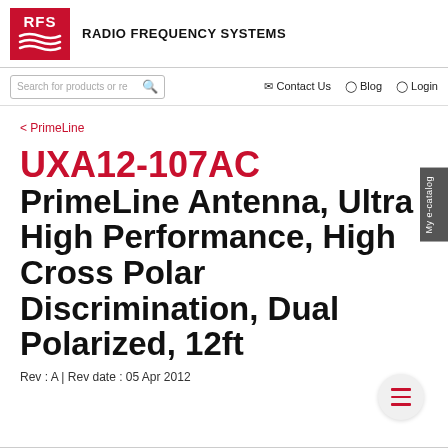[Figure (logo): RFS Radio Frequency Systems logo with red background, white RFS text and wave lines]
RADIO FREQUENCY SYSTEMS
Search for products or re  Contact Us  Blog  Login
< PrimeLine
UXA12-107AC PrimeLine Antenna, Ultra High Performance, High Cross Polar Discrimination, Dual Polarized, 12ft
Rev : A | Rev date : 05 Apr 2012